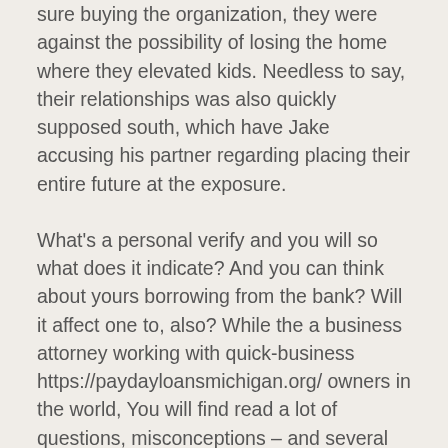sure buying the organization, they were against the possibility of losing the home where they elevated kids. Needless to say, their relationships was also quickly supposed south, which have Jake accusing his partner regarding placing their entire future at the exposure.
What's a personal verify and you will so what does it indicate? And you can think about yours borrowing from the bank? Will it affect one to, also? While the a business attorney working with quick-business https://paydayloansmichigan.org/ owners in the world, You will find read a lot of questions, misconceptions – and several